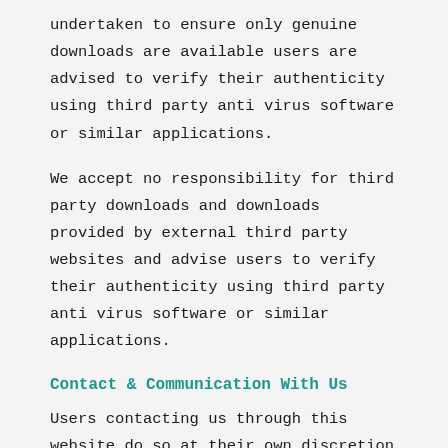undertaken to ensure only genuine downloads are available users are advised to verify their authenticity using third party anti virus software or similar applications.
We accept no responsibility for third party downloads and downloads provided by external third party websites and advise users to verify their authenticity using third party anti virus software or similar applications.
Contact & Communication With Us
Users contacting us through this website do so at their own discretion and provide any such personal